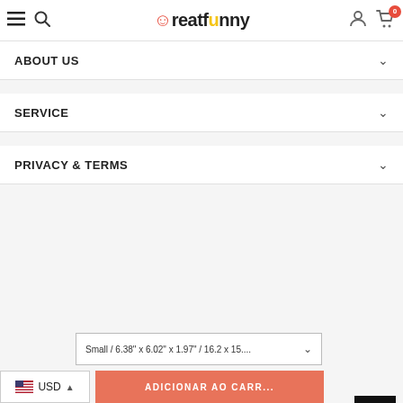Creatfunny — navigation header with hamburger, search, logo, user, cart (0)
ABOUT US
SERVICE
PRIVACY & TERMS
[Figure (other): Social media icons: Facebook (blue circle), Instagram (steel blue circle), Pinterest (red circle); plus scroll-up black button, resize button, back-to-top arrow]
Small / 6.38" x 6.02" x 1.97" / 16.2 x 15....
USD
ADICIONAR AO CARR...